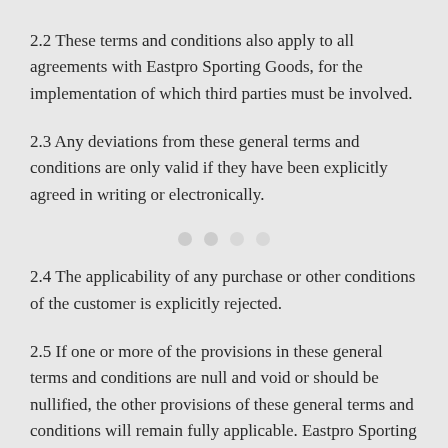2.2 These terms and conditions also apply to all agreements with Eastpro Sporting Goods, for the implementation of which third parties must be involved.
2.3 Any deviations from these general terms and conditions are only valid if they have been explicitly agreed in writing or electronically.
2.4 The applicability of any purchase or other conditions of the customer is explicitly rejected.
2.5 If one or more of the provisions in these general terms and conditions are null and void or should be nullified, the other provisions of these general terms and conditions will remain fully applicable. Eastpro Sporting Goods and the customer will then enter into consultation in order to agree on new provisions to replace the invalid or nullified provisions, whereby if and as far as possible the purpose